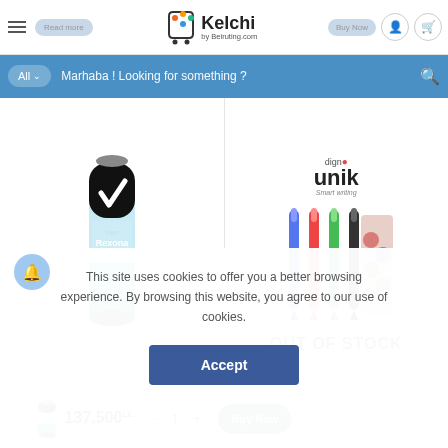Kelchi by Beiruting.com — navigation header with logo, menu, Read more, Buy Now, user and cart icons
All ∨  Marhaba ! Looking for something ?
[Figure (photo): Rexona Men deodorant spray can (black and teal)]
[Figure (photo): Dign• UNIK Smart writing — pens product image with OUT OF STOCK overlay]
137,500LL
Buy Now
This site uses cookies to offer you a better browsing experience. By browsing this website, you agree to our use of cookies.
Accept